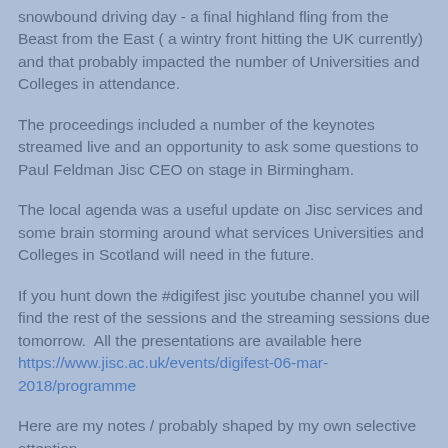snowbound driving day - a final highland fling from the Beast from the East ( a wintry front hitting the UK currently) and that probably impacted the number of Universities and Colleges in attendance.
The proceedings included a number of the keynotes streamed live and an opportunity to ask some questions to Paul Feldman Jisc CEO on stage in Birmingham.
The local agenda was a useful update on Jisc services and some brain storming around what services Universities and Colleges in Scotland will need in the future.
If you hunt down the #digifest jisc youtube channel you will find the rest of the sessions and the streaming sessions due tomorrow.  All the presentations are available here https://www.jisc.ac.uk/events/digifest-06-mar-2018/programme
Here are my notes / probably shaped by my own selective attention.